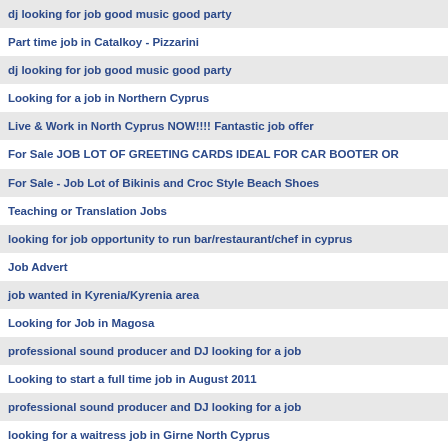dj looking for job good music good party
Part time job in Catalkoy - Pizzarini
dj looking for job good music good party
Looking for a job in Northern Cyprus
Live & Work in North Cyprus NOW!!!! Fantastic job offer
For Sale JOB LOT OF GREETING CARDS IDEAL FOR CAR BOOTER OR
For Sale - Job Lot of Bikinis and Croc Style Beach Shoes
Teaching or Translation Jobs
looking for job opportunity to run bar/restaurant/chef in cyprus
Job Advert
job wanted in Kyrenia/Kyrenia area
Looking for Job in Magosa
professional sound producer and DJ looking for a job
Looking to start a full time job in August 2011
professional sound producer and DJ looking for a job
looking for a waitress job in Girne North Cyprus
certified civil engineer,looking for construction job in North Cyprus
any jobs in kyrenia or nicosia